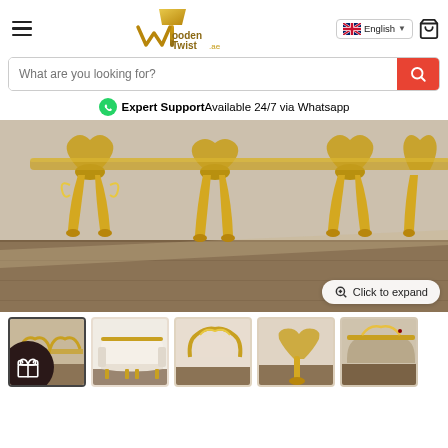WoodenTwist.ae - Navigation bar with hamburger menu, logo, language selector (English), and cart icon
What are you looking for?
Expert Support Available 24/7 via Whatsapp
[Figure (photo): Close-up photo of ornate gold baroque-style furniture legs/frame with decorative carvings, on a wooden floor]
Click to expand
[Figure (photo): Thumbnail row: 5 product thumbnails of a gold baroque sofa/furniture set]